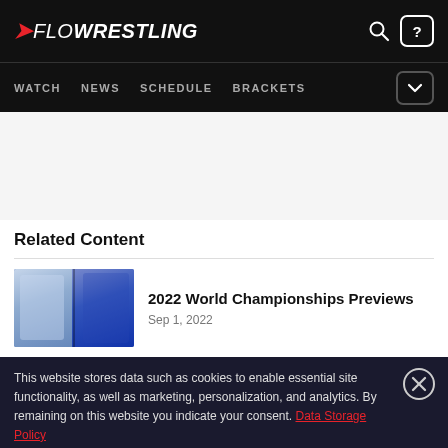FLOWRESTLING — WATCH NEWS SCHEDULE BRACKETS
Related Content
[Figure (photo): Thumbnail image showing two wrestlers — a female athlete on the left and a male USA athlete on the right]
2022 World Championships Previews
Sep 1, 2022
This website stores data such as cookies to enable essential site functionality, as well as marketing, personalization, and analytics. By remaining on this website you indicate your consent. Data Storage Policy